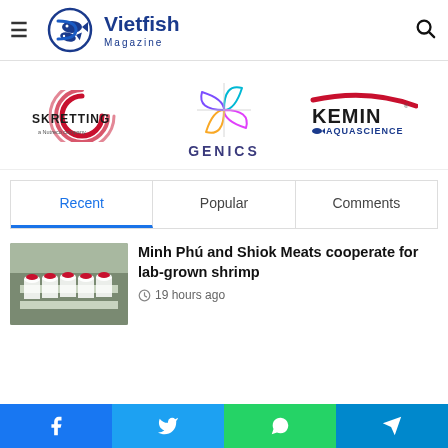Vietfish Magazine
[Figure (logo): Skretting (a Nutreco company) logo with red circular swoosh]
[Figure (logo): Genics logo with colorful pinwheel/leaf design]
[Figure (logo): Kemin AquaScience logo with red swoosh]
Recent | Popular | Comments
[Figure (photo): Shrimp processing facility workers in white uniforms and red hats]
Minh Phú and Shiok Meats cooperate for lab-grown shrimp
19 hours ago
Facebook | Twitter | WhatsApp | Telegram